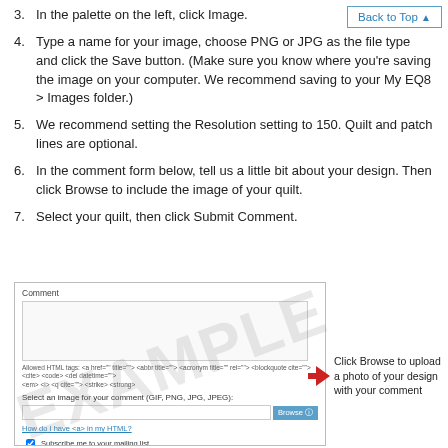3. In the palette on the left, click Image.
4. Type a name for your image, choose PNG or JPG as the file type and click the Save button. (Make sure you know where you're saving the image on your computer. We recommend saving to your My EQ8 > Images folder.)
5. We recommend setting the Resolution setting to 150. Quilt and patch lines are optional.
6. In the comment form below, tell us a little bit about your design. Then click Browse to include the image of your quilt.
7. Select your quilt, then click Submit Comment.
[Figure (screenshot): Screenshot of a comment form with a text area, HTML tags note, image upload field with Browse button, a link, and Subscribe checkbox. An EXAMPLE watermark is overlaid diagonally.]
Click Browse to upload a photo of your design with your comment